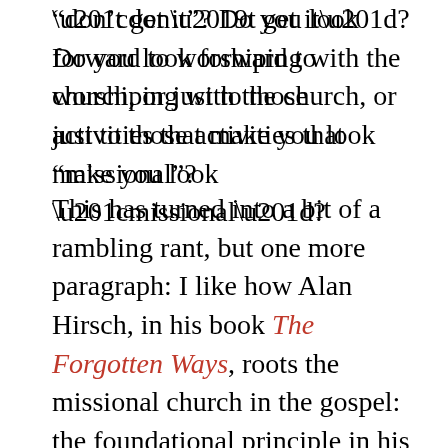“don’t get it”? Do you look forward to worshiping with the church, or just to those activities that make you look “missional”?
This has turned into a bit of a rambling rant, but one more paragraph: I like how Alan Hirsch, in his book The Forgotten Ways, roots the missional church in the gospel: the foundational principle in his framework is “Jesus is Lord.” You can’t be truly “missional” without specific reference to Jesus, because it’s his mission we’re participating in. And has we move forward in mission together, we find we are surrounded by the church: the worshiping community of God filled with students of Jesus Christ, empowered by the